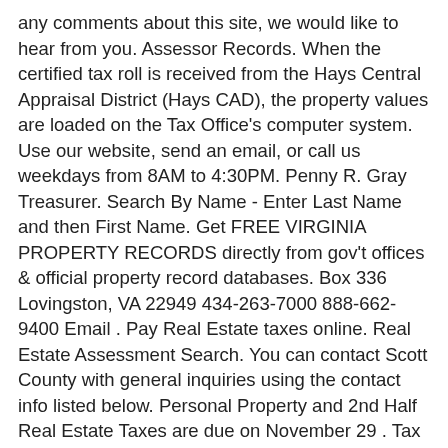any comments about this site, we would like to hear from you. Assessor Records. When the certified tax roll is received from the Hays Central Appraisal District (Hays CAD), the property values are loaded on the Tax Office's computer system. Use our website, send an email, or call us weekdays from 8AM to 4:30PM. Penny R. Gray Treasurer. Search By Name - Enter Last Name and then First Name. Get FREE VIRGINIA PROPERTY RECORDS directly from gov't offices & official property record databases. Box 336 Lovingston, VA 22949 434-263-7000 888-662-9400 Email . Pay Real Estate taxes online. Real Estate Assessment Search. You can contact Scott County with general inquiries using the contact info listed below. Personal Property and 2nd Half Real Estate Taxes are due on November 29 . Tax Assessments . It is an ad valorem tax, meaning the tax amount is set according to the value of the property. Microfilm of original records at Virginia State Library in Richmond, Virginia. Jonesville, VA 24263-0367. In